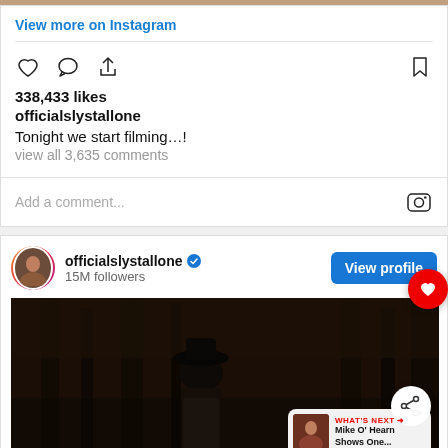[Figure (screenshot): Top colored strip image at the very top of the page]
View more on Instagram
338,433 likes
officialslystallone
Tonight we start filming…!
view all 3,635 comments
Add a comment...
[Figure (screenshot): Instagram profile card for officialslystallone with 15M followers, View profile button, and a dark cinematic post photo of a figure in a hat in a forest. A 'WHAT'S NEXT' box shows Mike O' Hearn Shows One...]